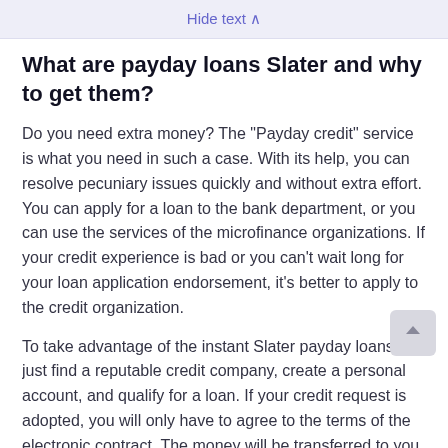Hide text ∧
What are payday loans Slater and why to get them?
Do you need extra money? The "Payday credit" service is what you need in such a case. With its help, you can resolve pecuniary issues quickly and without extra effort. You can apply for a loan to the bank department, or you can use the services of the microfinance organizations. If your credit experience is bad or you can't wait long for your loan application endorsement, it's better to apply to the credit organization.
To take advantage of the instant Slater payday loans, just find a reputable credit company, create a personal account, and qualify for a loan. If your credit request is adopted, you will only have to agree to the terms of the electronic contract. The money will be transferred to you immediately...